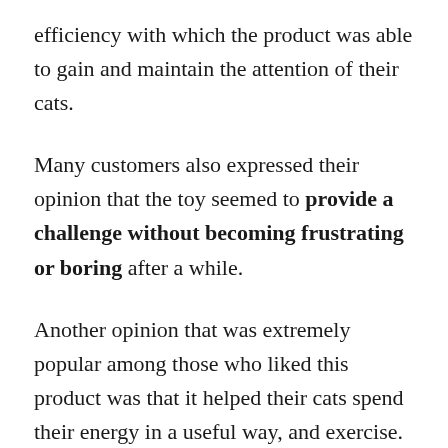efficiency with which the product was able to gain and maintain the attention of their cats.
Many customers also expressed their opinion that the toy seemed to provide a challenge without becoming frustrating or boring after a while.
Another opinion that was extremely popular among those who liked this product was that it helped their cats spend their energy in a useful way, and exercise.